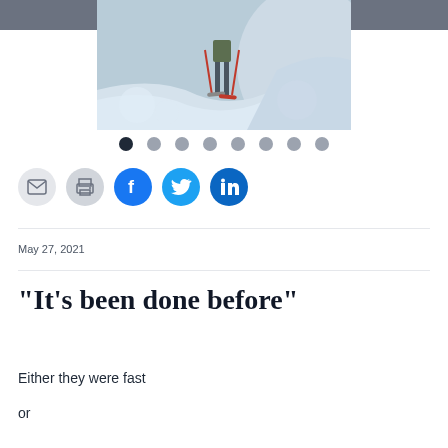BACK TO TOP
[Figure (photo): A person on skis in deep snow, viewed from behind, with ski poles and snowy terrain around them.]
[Figure (other): Carousel navigation dots — 8 dots, the first one black (active) and the rest grey.]
[Figure (other): Social sharing buttons row: email (grey), print (grey), Facebook (blue), Twitter (light blue), LinkedIn (dark blue).]
May 27, 2021
“It’s been done before”
Either they were fast
or